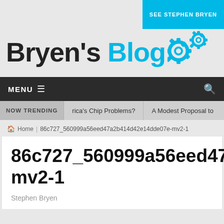SEE STEPHEN BRYEN
Bryen's Blog
MENU
NOW TRENDING  rica's Chip Problems?  A Modest Proposal to
Home 86c727_560999a56eed47a2b414d42e14dde07e-mv2-1
86c727_560999a56eed47mv2-1
Stephen Bryen